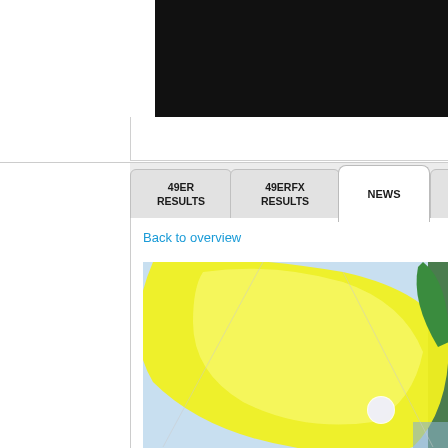[Figure (screenshot): Top portion of a webpage showing a dark/black image area (partially cropped) and a white card background]
[Figure (screenshot): Navigation tab bar with four tabs: 49ER RESULTS, 49ERFX RESULTS, NEWS (active/selected), PHOTOS]
Back to overview
[Figure (photo): Sailing photo showing a large yellow spinnaker sail against a blue sky, with a small sailing logo/emblem visible on the sail]